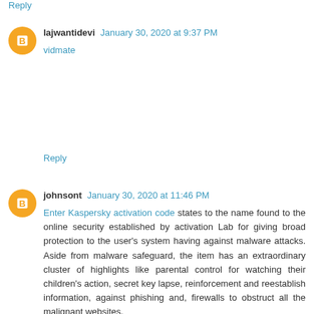Reply
lajwantidevi January 30, 2020 at 9:37 PM
vidmate
Reply
johnsont January 30, 2020 at 11:46 PM
Enter Kaspersky activation code states to the name found to the online security established by activation Lab for giving broad protection to the user's system having against malware attacks. Aside from malware safeguard, the item has an extraordinary cluster of highlights like parental control for watching their children's action, secret key lapse, reinforcement and reestablish information, against phishing and, firewalls to obstruct all the malignant websites.
Reply